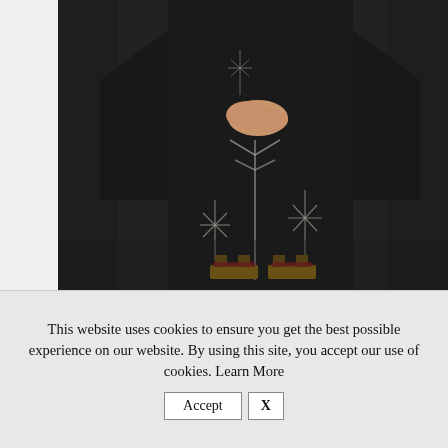[Figure (photo): A person wearing a black kimono with silver/white floral and bamboo patterns, hands clasped in front, wearing traditional wooden sandals (geta), photographed against a dark background. Only the torso and lower body are visible.]
This website uses cookies to ensure you get the best possible experience on our website. By using this site, you accept our use of cookies. Learn More